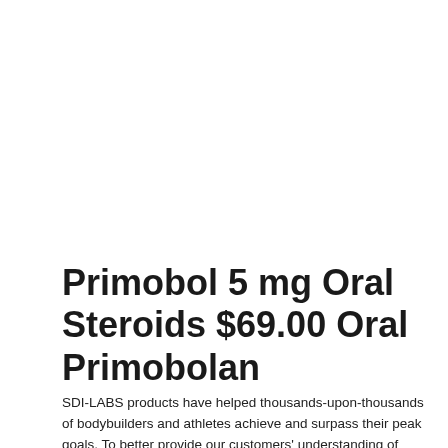Primobol 5 mg Oral Steroids $69.00 Oral Primobolan
SDI-LABS products have helped thousands-upon-thousands of bodybuilders and athletes achieve and surpass their peak goals. To better provide our customers' understanding of steroids, we have created an extensive guide to